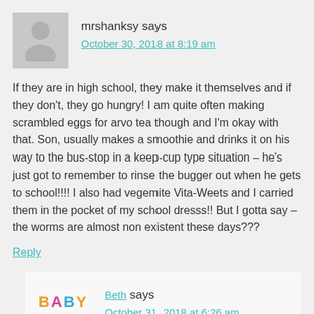mrshanksy says
October 30, 2018 at 8:19 am
If they are in high school, they make it themselves and if they don't, they go hungry! I am quite often making scrambled eggs for arvo tea though and I'm okay with that. Son, usually makes a smoothie and drinks it on his way to the bus-stop in a keep-cup type situation – he's just got to remember to rinse the bugger out when he gets to school!!!! I also had vegemite Vita-Weets and I carried them in the pocket of my school dresss!! But I gotta say – the worms are almost non existent these days???
Reply
Beth says
October 31, 2018 at 6:26 am